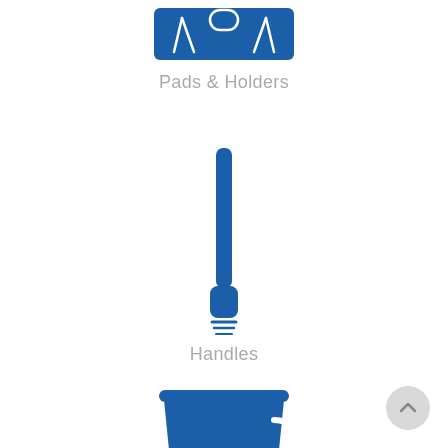[Figure (illustration): Blue icon of a cleaning pad with holder (mop head/pad), partially cropped at top]
Pads & Holders
[Figure (illustration): Blue icon of a cleaning mop handle with a threaded bottom connector]
Handles
[Figure (illustration): Blue icon of a cleaning bucket, partially visible at the bottom of the page]